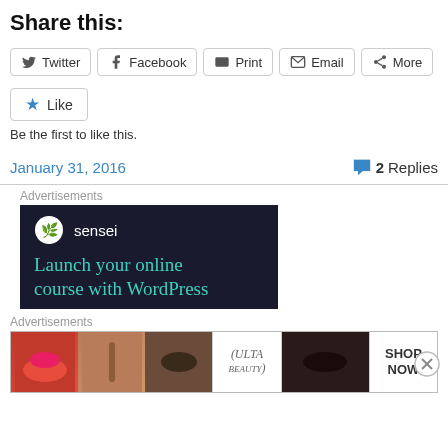Share this:
Twitter  Facebook  Print  Email  More
Like
Be the first to like this.
January 31, 2016   2 Replies
Advertisements
[Figure (screenshot): Dark advertisement banner for Sensei plugin showing logo and text 'Launch your online course with WordPress']
Advertisements
[Figure (screenshot): Ulta beauty advertisement strip showing makeup/cosmetics images with SHOP NOW call to action]